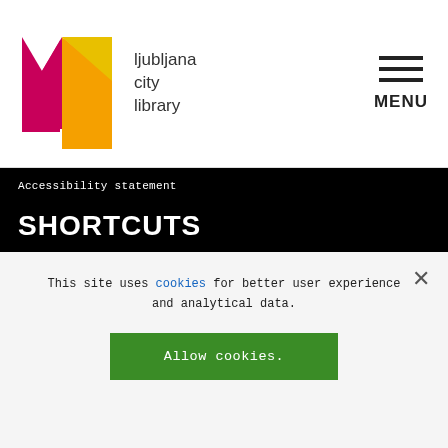[Figure (logo): Ljubljana City Library logo with geometric M-shape in magenta/orange/yellow, next to text 'ljubljana city library']
MENU
Accessibility statement
SHORTCUTS
Home
Borrowing of library material
Opening hours
Membership
Price list
This site uses cookies for better user experience and analytical data.
Allow cookies.